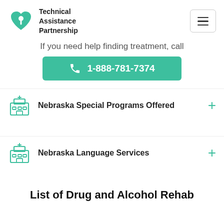Technical Assistance Partnership
If you need help finding treatment, call
1-888-781-7374
Nebraska Special Programs Offered
Nebraska Language Services
List of Drug and Alcohol Rehab